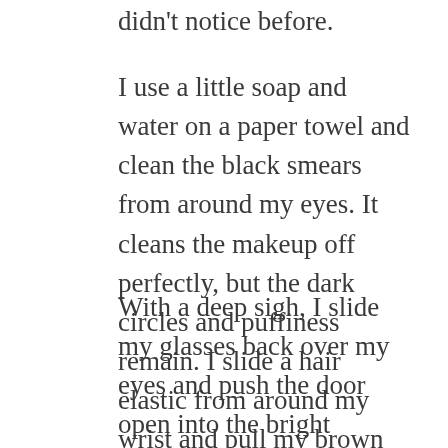didn't notice before.
I use a little soap and water on a paper towel and clean the black smears from around my eyes. It cleans the makeup off perfectly, but the dark circles and puffiness remain. I slide a hair elastic from around my wrist and pull my brown mop of humid-induced frizz into a messy bun.
With a deep sigh, I slide my glasses back over my eyes and push the door open into the bright sunlight. I take in the beautiful field dotted with wildflowers behind the gas station, then close my eyes and lift my face to the sun, disregarding the intensity on my pale skin. I breathe in the fragrant smell of